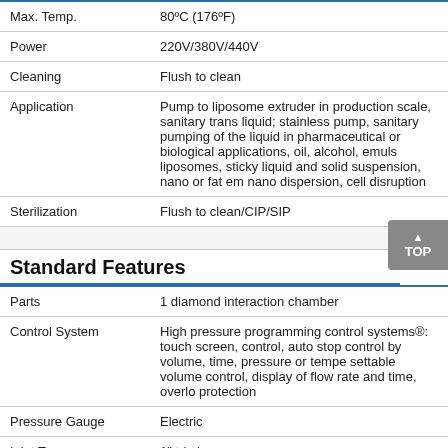| Property | Value |
| --- | --- |
| Max. Temp. | 80ºC (176ºF) |
| Power | 220V/380V/440V |
| Cleaning | Flush to clean |
| Application | Pump to liposome extruder in production scale, sanitary trans liquid; stainless pump, sanitary pumping of the liquid in pharmaceutical or biological applications, oil, alcohol, emuls liposomes, sticky liquid and solid suspension, nano or fat em nano dispersion, cell disruption |
| Sterilization | Flush to clean/CIP/SIP |
Standard Features
| Property | Value |
| --- | --- |
| Parts | 1 diamond interaction chamber |
| Control System | High pressure programming control systems®: touch screen, control, auto stop control by volume, time, pressure or tempe settable volume control, display of flow rate and time, overlo protection |
| Pressure Gauge | Electric |
| Inlet Type | 1" tri-clamp |
| Outlet Type | 1" tri-clamp |
| Inlet Reservoir | 1L stainless cylinder or online |
| Outlet Reservoir | 1L stainless cylinder or online |